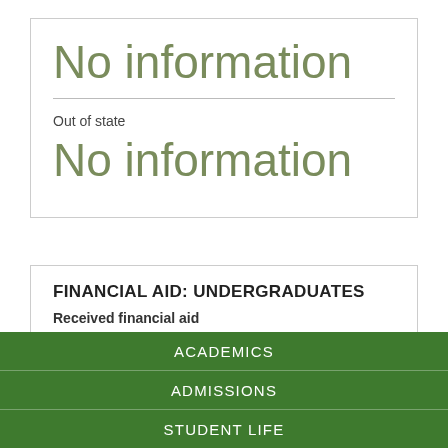No information
Out of state
No information
FINANCIAL AID: UNDERGRADUATES
Received financial aid
74%
ACADEMICS
ADMISSIONS
STUDENT LIFE